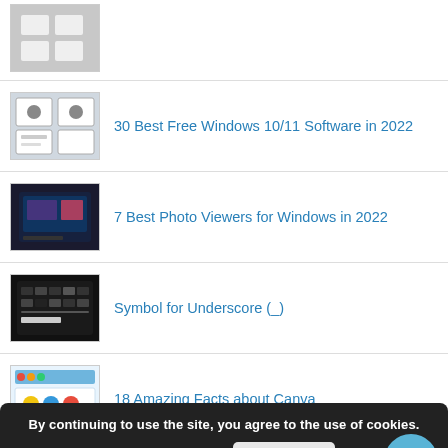(thumbnail only, partial top item)
30 Best Free Windows 10/11 Software in 2022
7 Best Photo Viewers for Windows in 2022
Symbol for Underscore (_)
18 Amazing Facts about Canva
What Tablet Game Controllers Can Attach A 10-Inch Tablet?
By continuing to use the site, you agree to the use of cookies. more information Accept
5 J-RPG Games Square Enix Should Be Making